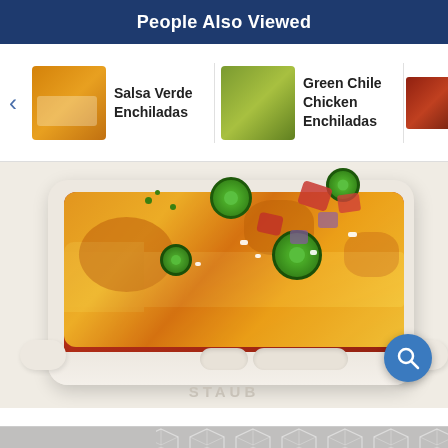People Also Viewed
Salsa Verde Enchiladas
Green Chile Chicken Enchiladas
Slow C... En... Qui...
[Figure (photo): Close-up photo of enchiladas in a white Staub baking dish, topped with melted orange cheese, sliced jalapeños, diced tomatoes, red onion, and crumbled cotija cheese. A blue circular search icon is visible in the lower right corner.]
[Figure (illustration): Gray geometric hexagon/chevron pattern at the bottom of the page]